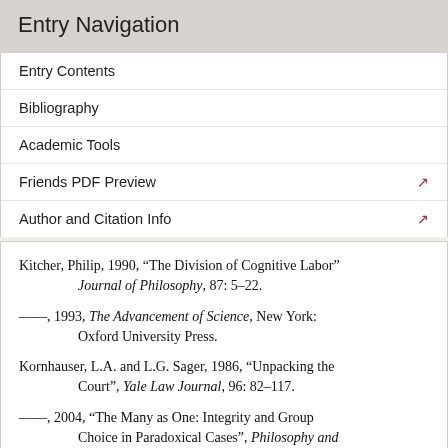Entry Navigation
Entry Contents
Bibliography
Academic Tools
Friends PDF Preview
Author and Citation Info
Kitcher, Philip, 1990, “The Division of Cognitive Labor” Journal of Philosophy, 87: 5–22.
——, 1993, The Advancement of Science, New York: Oxford University Press.
Kornhauser, L.A. and L.G. Sager, 1986, “Unpacking the Court”, Yale Law Journal, 96: 82–117.
——, 2004, “The Many as One: Integrity and Group Choice in Paradoxical Cases”, Philosophy and Public Affairs, 32: 249–276.
Kuhn, Thomas, 1962, The Structure of Scientific